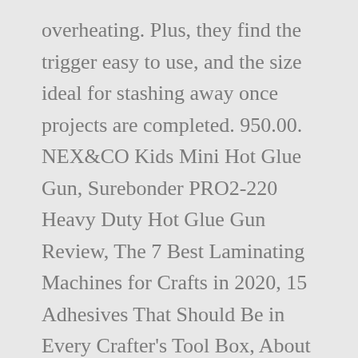overheating. Plus, they find the trigger easy to use, and the size ideal for stashing away once projects are completed. 950.00. NEX&CO Kids Mini Hot Glue Gun, Surebonder PRO2-220 Heavy Duty Hot Glue Gun Review, The 7 Best Laminating Machines for Crafts in 2020, 15 Adhesives That Should Be in Every Crafter's Tool Box, About Beading Thread Burners and How to Use One, How to Choose Which Glue or Adhesive to Use for Cardmaking, How to Make a Cat Ears Headband for Halloween, How to Use a Framing Nailer Safely and Effectively. What's more, the adhesive is also strong enough to use on small household items or broken property and is also non-